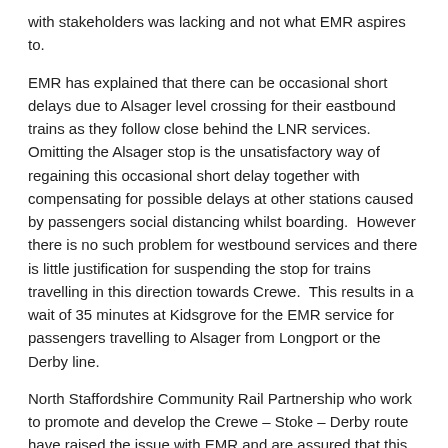with stakeholders was lacking and not what EMR aspires to.
EMR has explained that there can be occasional short delays due to Alsager level crossing for their eastbound trains as they follow close behind the LNR services. Omitting the Alsager stop is the unsatisfactory way of regaining this occasional short delay together with compensating for possible delays at other stations caused by passengers social distancing whilst boarding.  However there is no such problem for westbound services and there is little justification for suspending the stop for trains travelling in this direction towards Crewe.  This results in a wait of 35 minutes at Kidsgrove for the EMR service for passengers travelling to Alsager from Longport or the Derby line.
North Staffordshire Community Rail Partnership who work to promote and develop the Crewe – Stoke – Derby route have raised the issue with EMR and are assured that this service withdrawal from Alsager will be temporary.  They are in dialogue with EMR who will, every 4 weeks, share with them the evidence for not stopping at the station.